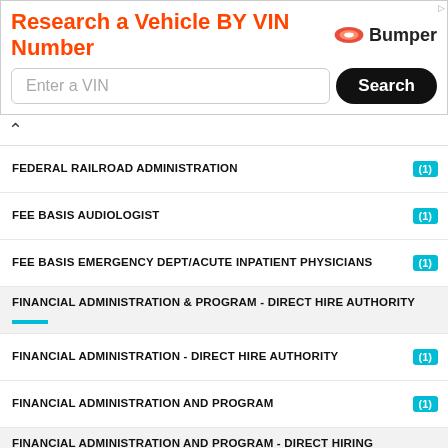[Figure (screenshot): Bumper.com advertisement banner: 'Research a Vehicle BY VIN Number' with a search input and Search button]
FEDERAL RAILROAD ADMINISTRATION (1)
FEE BASIS AUDIOLOGIST (1)
FEE BASIS EMERGENCY DEPT/ACUTE INPATIENT PHYSICIANS (1)
FINANCIAL ADMINISTRATION & PROGRAM - DIRECT HIRE AUTHORITY
FINANCIAL ADMINISTRATION - DIRECT HIRE AUTHORITY (1)
FINANCIAL ADMINISTRATION AND PROGRAM (1)
FINANCIAL ADMINISTRATION AND PROGRAM - DIRECT HIRING AUTHORITY
FINANCIAL ADMINISTRATION AND PROGRAMS (1)
FINANCIAL CLERICAL AND ASSISTANCE - DIRECT HIRING AUTHORITY
FINANCIAL CLERICAL AND ASSISTANCE PROGRAM - DIRECT HIRE AUTHORITY